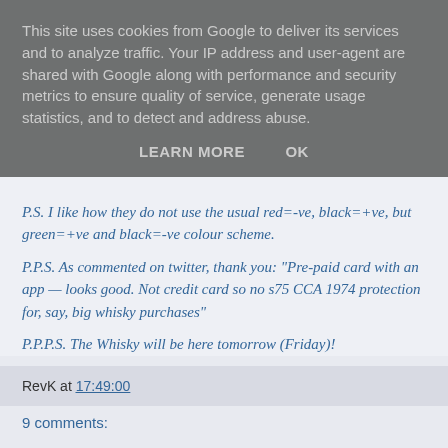This site uses cookies from Google to deliver its services and to analyze traffic. Your IP address and user-agent are shared with Google along with performance and security metrics to ensure quality of service, generate usage statistics, and to detect and address abuse.
LEARN MORE   OK
P.S. I like how they do not use the usual red=-ve, black=+ve, but green=+ve and black=-ve colour scheme.
P.P.S. As commented on twitter, thank you: "Pre-paid card with an app — looks good. Not credit card so no s75 CCA 1974 protection for, say, big whisky purchases"
P.P.P.S. The Whisky will be here tomorrow (Friday)!
RevK at 17:49:00
9 comments: